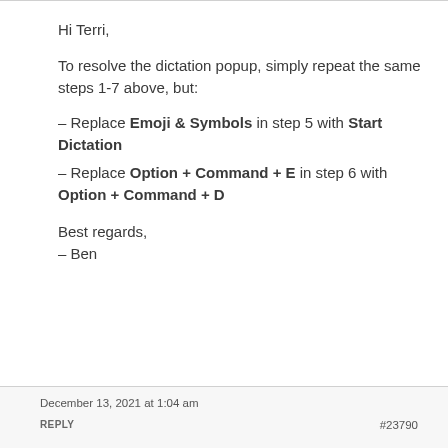Hi Terri,
To resolve the dictation popup, simply repeat the same steps 1-7 above, but:
– Replace Emoji & Symbols in step 5 with Start Dictation
– Replace Option + Command + E in step 6 with Option + Command + D
Best regards,
– Ben
December 13, 2021 at 1:04 am
REPLY
#23790